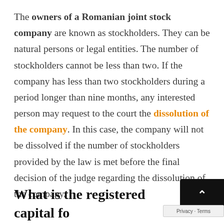The owners of a Romanian joint stock company are known as stockholders. They can be natural persons or legal entities. The number of stockholders cannot be less than two. If the company has less than two stockholders during a period longer than nine months, any interested person may request to the court the dissolution of the company. In this case, the company will not be dissolved if the number of stockholders provided by the law is met before the final decision of the judge regarding the dissolution of the company.
What is the registered capital fo...